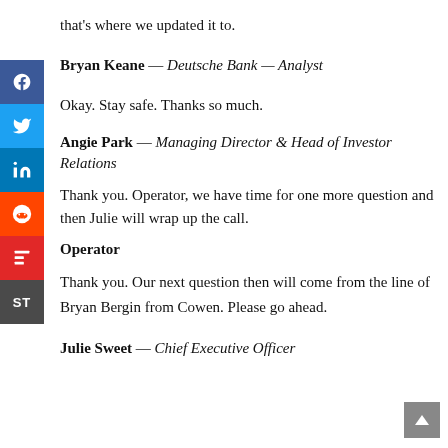that's where we updated it to.
Bryan Keane — Deutsche Bank — Analyst
Okay. Stay safe. Thanks so much.
Angie Park — Managing Director & Head of Investor Relations
Thank you. Operator, we have time for one more question and then Julie will wrap up the call.
Operator
Thank you. Our next question then will come from the line of Bryan Bergin from Cowen. Please go ahead.
Julie Sweet — Chief Executive Officer